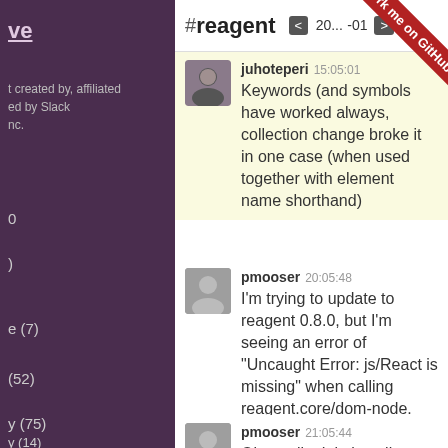ve
t created by, affiliated
ed by Slack
nc.
e (7)
(52)
0
)
y (75)
y (14)
#reagent  < 20...5-01 >
juhoteperi 15:05:01
Keywords (and symbols have worked always, collection change broke it in one case (when used together with element name shorthand)
pmooser 20:05:48
I'm trying to update to reagent 0.8.0, but I'm seeing an error of "Uncaught Error: js/React is missing" when calling reagent.core/dom-node. Anyone have any pointers what might cause this? If I type "React" in the js console, there is an object there.
pmooser 21:05:44
Ok, totally deleting cljs output dir and recompiling...